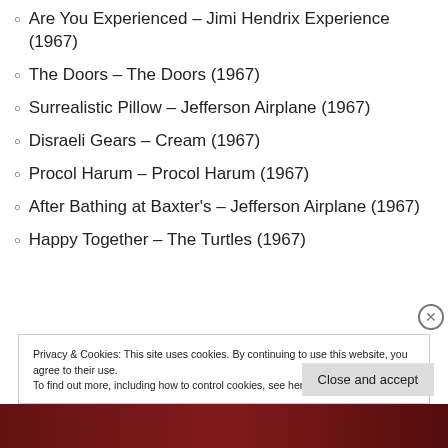Are You Experienced – Jimi Hendrix Experience (1967)
The Doors – The Doors (1967)
Surrealistic Pillow – Jefferson Airplane (1967)
Disraeli Gears – Cream (1967)
Procol Harum – Procol Harum (1967)
After Bathing at Baxter's – Jefferson Airplane (1967)
Happy Together – The Turtles (1967)
Privacy & Cookies: This site uses cookies. By continuing to use this website, you agree to their use.
To find out more, including how to control cookies, see here: Cookie Policy